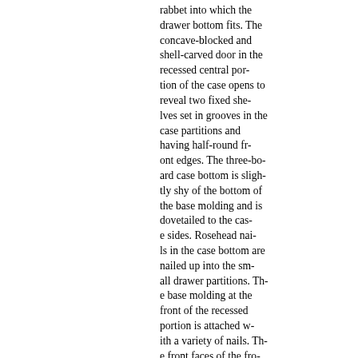rabbet into which the drawer bottom fits. The concave-blocked and shell-carved door in the recessed central portion of the case opens to reveal two fixed shelves set in grooves in the case partitions and having half-round front edges. The three-board case bottom is slightly shy of the bottom of the base molding and is dovetailed to the case sides. Rosehead nails in the case bottom are nailed up into the small drawer partitions. The base molding at the front of the recessed portion is attached with a variety of nails. The front faces of the front four ogee bracket feet are convex-blocked